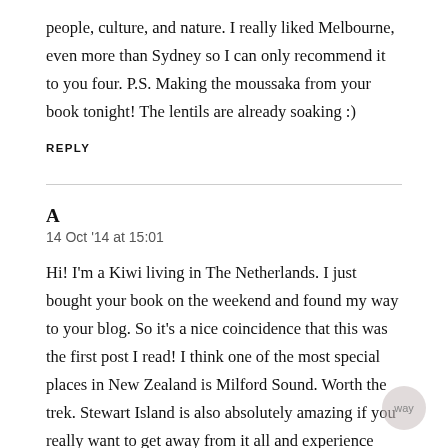people, culture, and nature. I really liked Melbourne, even more than Sydney so I can only recommend it to you four. P.S. Making the moussaka from your book tonight! The lentils are already soaking :)
REPLY
A
14 Oct '14 at 15:01
Hi! I'm a Kiwi living in The Netherlands. I just bought your book on the weekend and found my way to your blog. So it's a nice coincidence that this was the first post I read! I think one of the most special places in New Zealand is Milford Sound. Worth the trek. Stewart Island is also absolutely amazing if you really want to get away from it all and experience nature, bush, a thousand